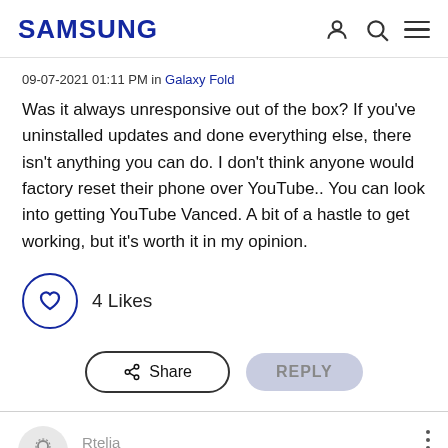SAMSUNG
09-07-2021 01:11 PM in Galaxy Fold
Was it always unresponsive out of the box? If you've uninstalled updates and done everything else, there isn't anything you can do. I don't think anyone would factory reset their phone over YouTube.. You can look into getting YouTube Vanced. A bit of a hastle to get working, but it's worth it in my opinion.
4 Likes
Share  REPLY
Rtelia
Astronaut